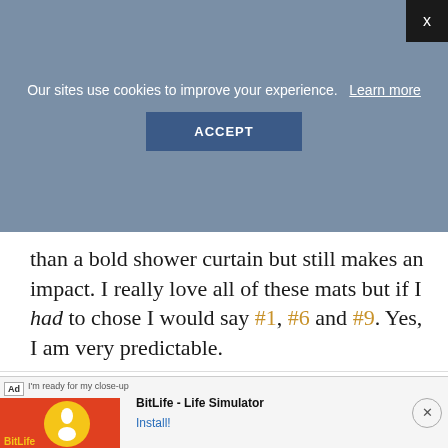Our sites use cookies to improve your experience.  Learn more
ACCEPT
than a bold shower curtain but still makes an impact. I really love all of these mats but if I had to chose I would say #1, #6 and #9. Yes, I am very predictable.
BUDGET BATHROOM // BATH MATS
[Figure (photo): Three bath mat product images numbered 1, 2, 3. Mat 1 is brown with a border, Mat 2 has vertical grey stripes, Mat 3 has a dark geometric pattern.]
[Figure (screenshot): BitLife - Life Simulator advertisement banner at bottom of page with Install button.]